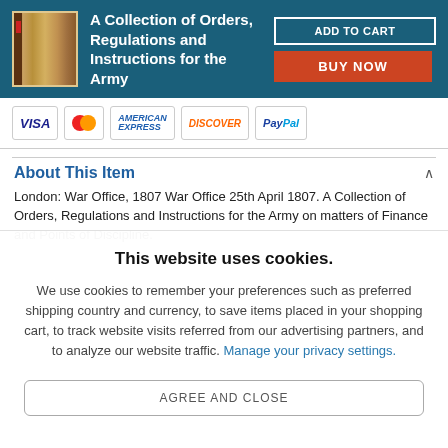A Collection of Orders, Regulations and Instructions for the Army
[Figure (screenshot): E-commerce product page header with book thumbnail, title, Add to Cart and Buy Now buttons on teal background, payment method logos (Visa, MasterCard, American Express, Discover, PayPal)]
About This Item
London: War Office, 1807 War Office 25th April 1807. A Collection of Orders, Regulations and Instructions for the Army on matters of Finance and Points of Discipline.
This website uses cookies.
We use cookies to remember your preferences such as preferred shipping country and currency, to save items placed in your shopping cart, to track website visits referred from our advertising partners, and to analyze our website traffic. Manage your privacy settings.
AGREE AND CLOSE